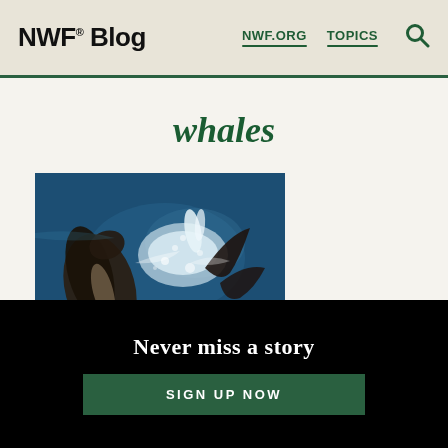NWF® Blog   NWF.ORG   TOPICS
whales
[Figure (photo): Aerial view of two whales at the ocean surface, one exhaling a spout of water, seen from above against deep blue water.]
Never miss a story
SIGN UP NOW